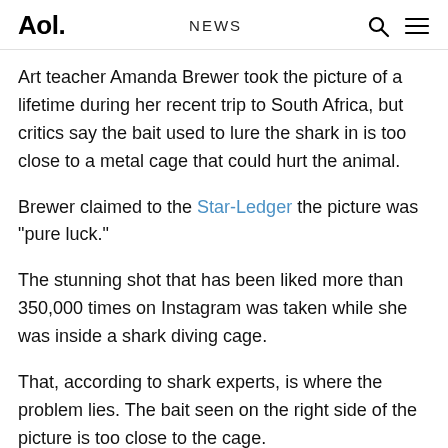Aol. | NEWS
Art teacher Amanda Brewer took the picture of a lifetime during her recent trip to South Africa, but critics say the bait used to lure the shark in is too close to a metal cage that could hurt the animal.
Brewer claimed to the Star-Ledger the picture was "pure luck."
The stunning shot that has been liked more than 350,000 times on Instagram was taken while she was inside a shark diving cage.
That, according to shark experts, is where the problem lies. The bait seen on the right side of the picture is too close to the cage.